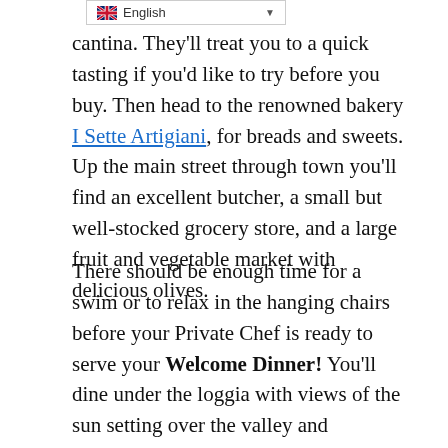English (language selector)
cantina. They'll treat you to a quick tasting if you'd like to try before you buy. Then head to the renowned bakery I Sette Artigiani, for breads and sweets. Up the main street through town you'll find an excellent butcher, a small but well-stocked grocery store, and a large fruit and vegetable market with delicious olives.
There should be enough time for a swim or to relax in the hanging chairs before your Private Chef is ready to serve your Welcome Dinner! You'll dine under the loggia with views of the sun setting over the valley and depending on the month, fireflies. Your private chef will prepare traditional local foods, paired with wine, and explain the provenance. They'll also